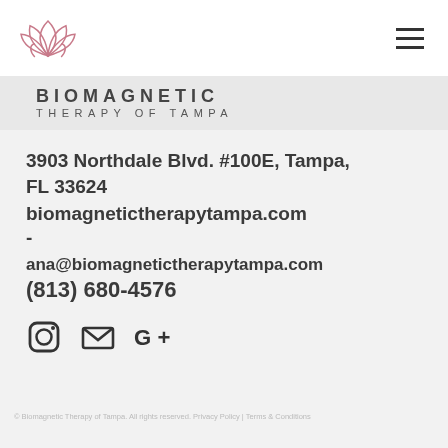[Figure (logo): Lotus flower logo in pink/rose outline style]
[Figure (logo): Biomagnetic Therapy of Tampa brand name text, partially clipped at top]
3903 Northdale Blvd. #100E, Tampa, FL 33624
biomagnetictherapytampa.com
-
ana@biomagnetictherapytampa.com
(813) 680-4576
[Figure (infographic): Social media icons: Instagram camera icon, email envelope icon, Google+ icon]
© Biomagnetic Therapy of Tampa. All rights reserved. Privacy Policy | Terms & Conditions